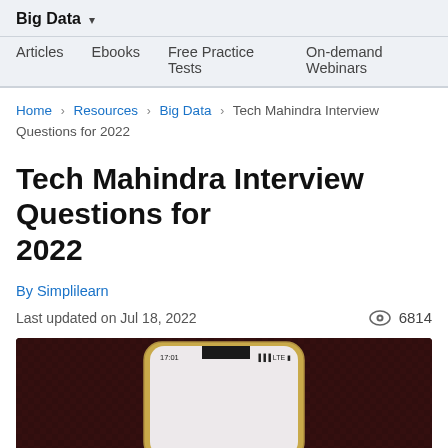Big Data ▾
Articles   Ebooks   Free Practice Tests   On-demand Webinars
Home › Resources › Big Data › Tech Mahindra Interview Questions for 2022
Tech Mahindra Interview Questions for 2022
By Simplilearn
Last updated on Jul 18, 2022   👁 6814
[Figure (photo): A smartphone with a gold/yellow frame showing a dark screen with status bar displaying 17:01 time, LTE signal, placed on a dark red/maroon fabric background.]